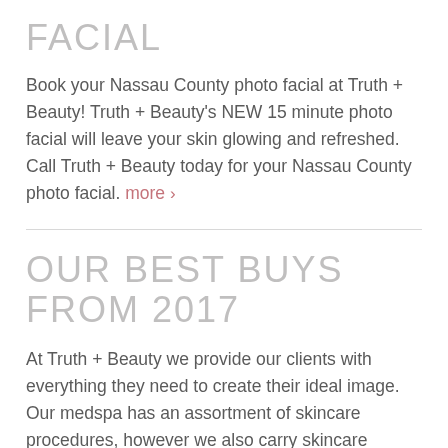FACIAL
Book your Nassau County photo facial at Truth + Beauty!  Truth + Beauty's NEW 15 minute photo facial will leave your skin glowing and refreshed. Call Truth + Beauty today for your Nassau County photo facial. more ›
OUR BEST BUYS FROM 2017
At Truth + Beauty we provide our clients with everything they need to create their ideal image. Our medspa has an assortment of skincare procedures, however we also carry skincare products to take home. A beauty ritual can be maintained at home to keep your skin healthy and glowing, even after your spa visit. Here are a few of our favorite recommended buys of 2017